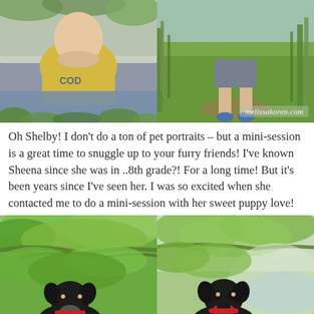[Figure (photo): Two photos side by side: left shows a young child lying on a blanket wearing a yellow shirt, right shows a child standing in a grassy field wearing gray shorts. Watermark reads melissakoren.com]
Oh Shelby!  I don't do a ton of pet portraits – but a mini-session is a great time to snuggle up to your furry friends! I've known Sheena since she was in ..8th grade?! For a long time! But it's been years since I've seen her. I was so excited when she contacted me to do a mini-session with her sweet puppy love!
[Figure (photo): Two photos side by side of a black dog (Shelby) outdoors among green leafy trees and branches. Left photo shows dog sitting looking up, right photo shows dog sitting with mouth open, panting, with misty background.]